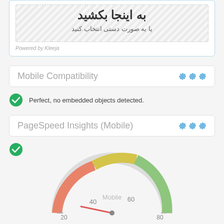[Figure (screenshot): Upload area widget with Persian text 'به اینجا بکشید' (drag here) and 'یا به صورت دستی انتخاب کنید' (or select manually). Powered by Kleeja label at bottom left.]
Mobile Compatibility
Perfect, no embedded objects detected.
PageSpeed Insights (Mobile)
[Figure (other): Speedometer/gauge showing mobile page speed. Needle pointing near 20-30 range. Gauge has red (0-40), yellow (40-70), green (70-100) segments. Labels: 20, 40, 60, 80. Center label: Mobile.]